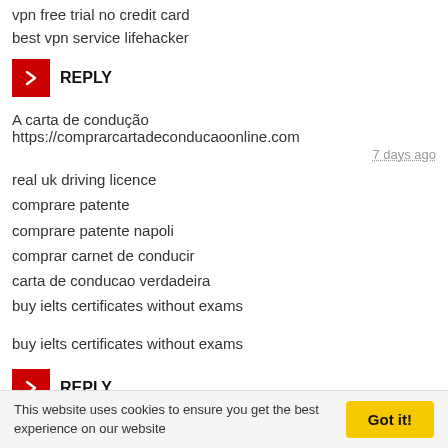vpn free trial no credit card
best vpn service lifehacker
[Figure (other): Red REPLY button with right-pointing chevron arrow icon]
A carta de condução https://comprarcartadeconducaoonline.com
7 days ago
real uk driving licence
comprare patente
comprare patente napoli
comprar carnet de conducir
carta de conducao verdadeira
buy ielts certificates without exams
buy ielts certificates without exams
[Figure (other): Red REPLY button with right-pointing chevron arrow icon]
This website uses cookies to ensure you get the best experience on our website
Got it!